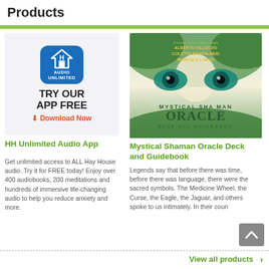Products
[Figure (illustration): HH Audio Unlimited app promotional box with blue house icon, text TRY OUR APP FREE, and red Download Now button]
HH Unlimited Audio App
Get unlimited access to ALL Hay House audio. Try it for FREE today! Enjoy over 400 audiobooks, 200 meditations and hundreds of immersive life-changing audio to help you reduce anxiety and more.
[Figure (photo): Book cover for Mystical Shaman Oracle Deck and Guidebook by Alberto Villoldo, Colette Baron-Reid, Marcela Lobos, illustrated by Jena DellaGrottaglia. Shows mystical eyes and forest imagery.]
Mystical Shaman Oracle Deck and Guidebook
Legends say that before there was time, before there was language, there were the sacred symbols. The Medicine Wheel, the Curse, the Eagle, the Jaguar, and others spoke to us intimately. In their coun
View all products >